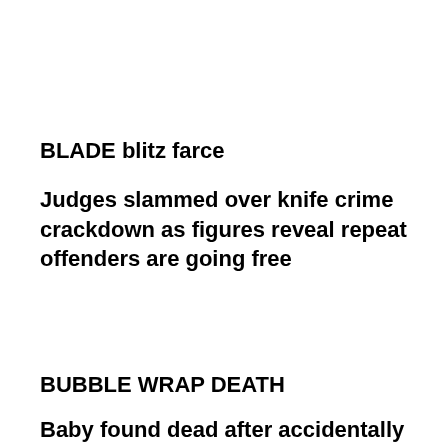BLADE blitz farce
Judges slammed over knife crime crackdown as figures reveal repeat offenders are going free
BUBBLE WRAP DEATH
Baby found dead after accidentally